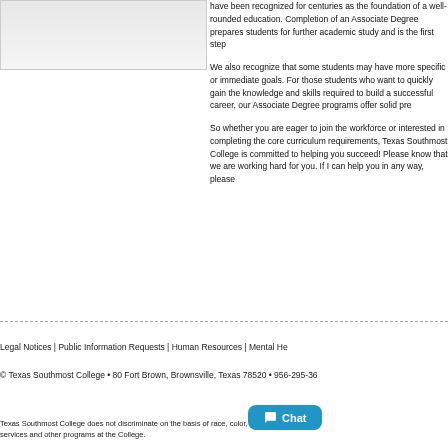[Figure (other): Gray placeholder image box in upper left]
have been recognized for centuries as the foundation of a well-rounded education. Completion of an Associate Degree prepares students for further academic study and is the first step
We also recognize that some students may have more specific or immediate goals. For those students who want to quickly gain the knowledge and skills required to build a successful career, our Associate Degree programs offer solid pre
So whether you are eager to join the workforce or interested in completing the core curriculum requirements, Texas Southmost College is committed to helping you succeed! Please know that we are working hard for you. If I can help you in any way, please
Legal Notices | Public Information Requests | Human Resources | Mental He
© Texas Southmost College • 80 Fort Brown, Brownsville, Texas 78520 • 956-295-36
Texas Southmost College does not discriminate on the basis of race, color, sex, national origin, services and other programs at the College.